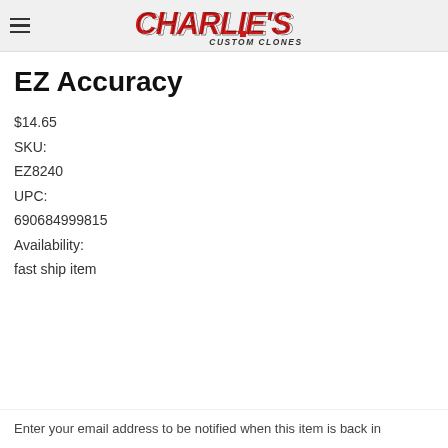Charlie's Custom Clones
EZ Accuracy
$14.65
SKU:
EZ8240
UPC:
690684999815
Availability:
fast ship item
Enter your email address to be notified when this item is back in